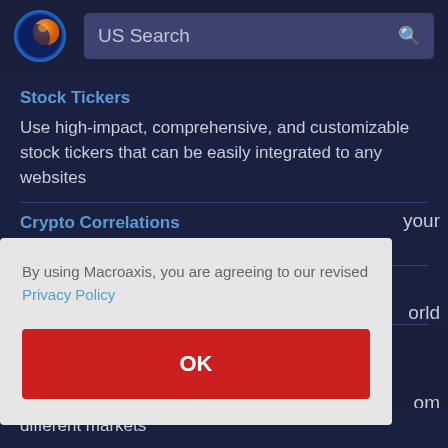[Figure (logo): Macroaxis globe logo — blue ring with orange and dark overlay sphere]
US Search
Stock Tickers
Use high-impact, comprehensive, and customizable stock tickers that can be easily integrated to any websites
Crypto Correlations
By using Macroaxis, you are agreeing to our revised Privacy Policy
OK
different markets